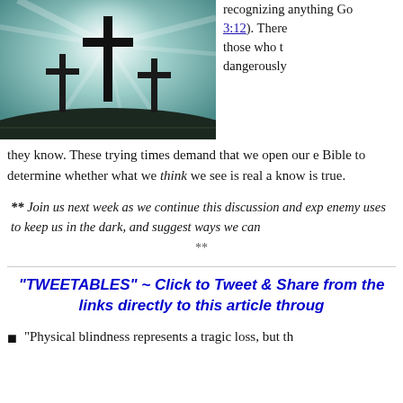[Figure (photo): Three crosses silhouetted against a dramatic bright sky with light rays, photograph]
recognizing anything Go 3:12). There those who t dangerously
they know. These trying times demand that we open our e Bible to determine whether what we think we see is real a know is true.
** Join us next week as we continue this discussion and exp enemy uses to keep us in the dark, and suggest ways we can
**
"TWEETABLES" ~ Click to Tweet & Share from the links directly to this article throug
"Physical blindness represents a tragic loss, but th